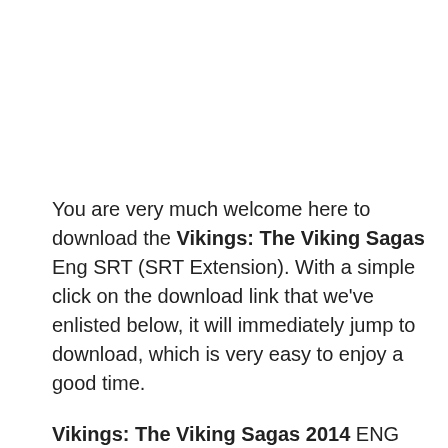You are very much welcome here to download the Vikings: The Viking Sagas Eng SRT (SRT Extension). With a simple click on the download link that we've enlisted below, it will immediately jump to download, which is very easy to enjoy a good time.
Vikings: The Viking Sagas 2014 ENG Subs, SRT is designated in mass versions, ranging from HD Rip, Full HD, 1080p, 720p, 480p, Blu-ray, and many more.